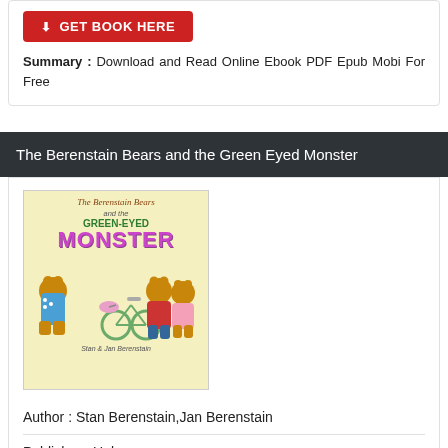GET BOOK HERE
Summary : Download and Read Online Ebook PDF Epub Mobi For Free
The Berenstain Bears and the Green Eyed Monster
[Figure (illustration): Book cover of The Berenstain Bears and the Green-Eyed Monster showing cartoon bears and a bicycle]
Author : Stan Berenstain,Jan Berenstain
Publisher : Unknown